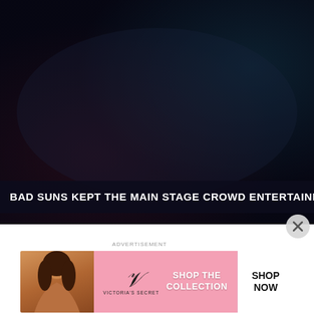[Figure (photo): Dark gradient background photo (stage/concert lighting scene) with deep purple-red on left and dark navy-teal on right]
BAD SUNS KEPT THE MAIN STAGE CROWD ENTERTAINED WITH SON
[Figure (advertisement): Victoria's Secret advertisement banner: model on left, VS logo and 'SHOP THE COLLECTION' text on pink background, 'SHOP NOW' button on white right panel]
ADVERTISEMENT